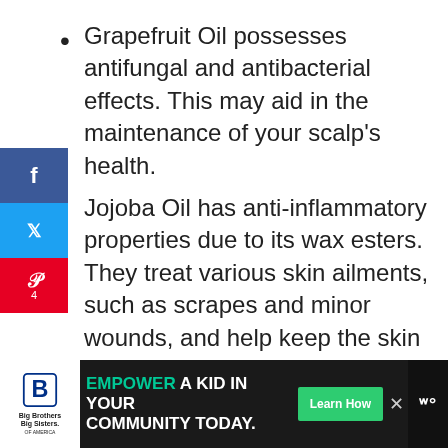Grapefruit Oil possesses antifungal and antibacterial effects. This may aid in the maintenance of your scalp's health.
Jojoba Oil has anti-inflammatory properties due to its wax esters. They treat various skin ailments, such as scrapes and minor wounds, and help keep the skin and scalp healthy. Jojoba oil coats the strands of your hair, making them smoother and easier to manage.
Peppermint essential oil has been shown in